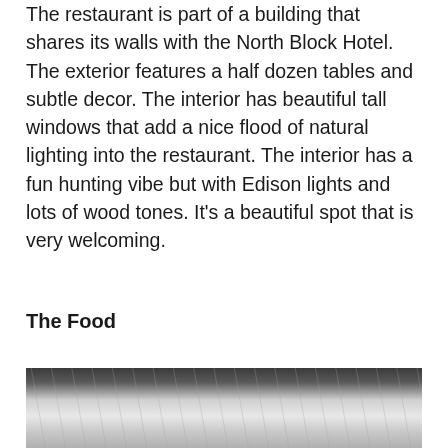The restaurant is part of a building that shares its walls with the North Block Hotel. The exterior features a half dozen tables and subtle decor. The interior has beautiful tall windows that add a nice flood of natural lighting into the restaurant. The interior has a fun hunting vibe but with Edison lights and lots of wood tones. It’s a beautiful spot that is very welcoming.
The Food
[Figure (photo): Black and white photo showing what appears to be a plate and cutlery on a table, partially visible at the bottom of the page.]